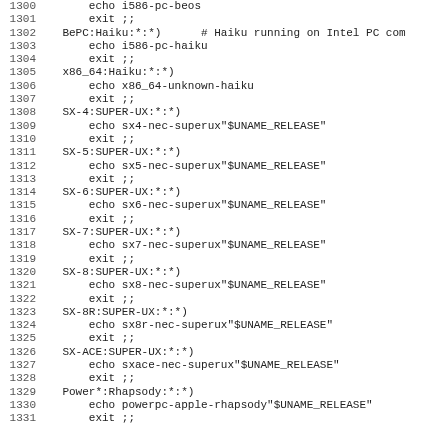Code listing lines 1300-1331, shell script case statement entries for system detection